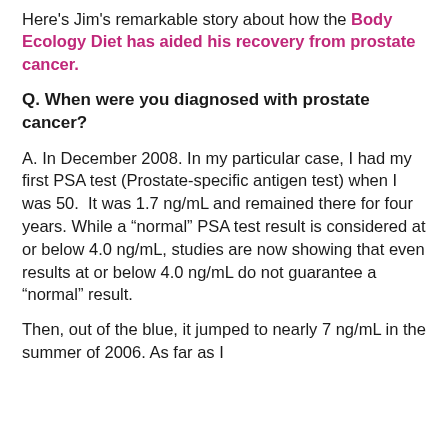Here's Jim's remarkable story about how the Body Ecology Diet has aided his recovery from prostate cancer.
Q. When were you diagnosed with prostate cancer?
A. In December 2008. In my particular case, I had my first PSA test (Prostate-specific antigen test) when I was 50.  It was 1.7 ng/mL and remained there for four years. While a “normal” PSA test result is considered at or below 4.0 ng/mL, studies are now showing that even results at or below 4.0 ng/mL do not guarantee a “normal” result.
Then, out of the blue, it jumped to nearly 7 ng/mL in the summer of 2006. As far as I